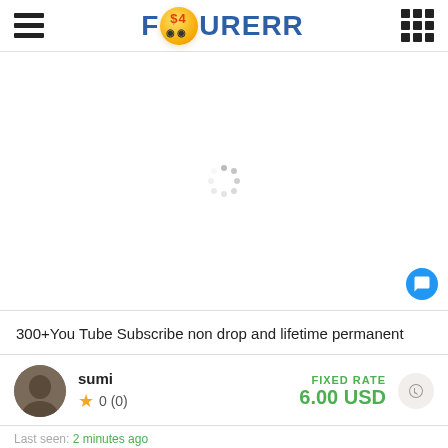FOURERR
[Figure (screenshot): Loading spinner on white background within a content card]
300+You Tube Subscribe non drop and lifetime permanent
sumi  ★ 0 (0)  FIXED RATE  6.00 USD
Last seen: 2 minutes ago